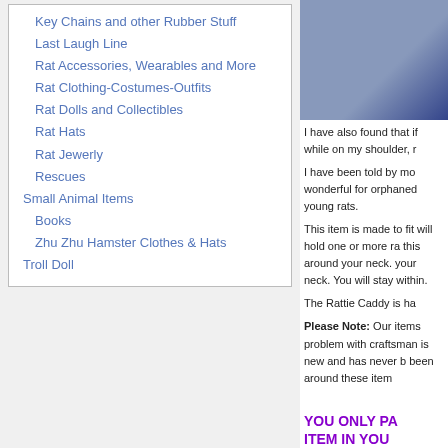Key Chains and other Rubber Stuff
Last Laugh Line
Rat Accessories, Wearables and More
Rat Clothing-Costumes-Outfits
Rat Dolls and Collectibles
Rat Hats
Rat Jewerly
Rescues
Small Animal Items
Books
Zhu Zhu Hamster Clothes & Hats
Troll Doll
[Figure (photo): Photo of a person wearing a blue sweater, partially cropped on the right side of the page]
I have also found that if while on my shoulder, r
I have been told by mo wonderful for orphaned young rats.
This item is made to fit will hold one or more ra this around your neck. your neck. You will stay within.
The Rattie Caddy is ha
Please Note: Our items problem with craftsman is new and has never b been around these item
YOU ONLY PA ITEM IN YOU